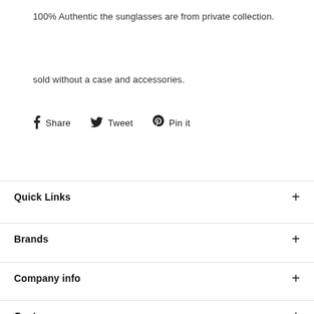100% Authentic the sunglasses are from private collection.
sold without a case and accessories.
f Share   🐦 Tweet   ℗ Pin it
Quick Links +
Brands +
Company info +
Customer care +